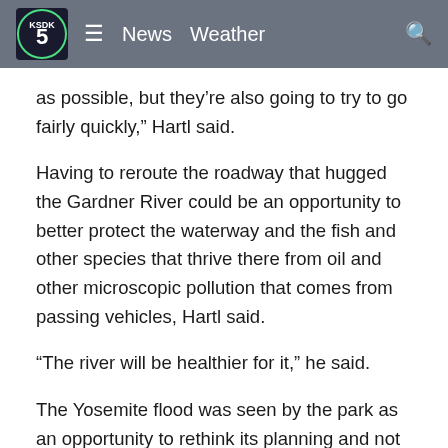News  Weather
as possible, but they’re also going to try to go fairly quickly,” Hartl said.
Having to reroute the roadway that hugged the Gardner River could be an opportunity to better protect the waterway and the fish and other species that thrive there from oil and other microscopic pollution that comes from passing vehicles, Hartl said.
“The river will be healthier for it,” he said.
The Yosemite flood was seen by the park as an opportunity to rethink its planning and not necessarily rebuild in the same places, said Frank Dean, president and chief executive of the Yosemite Conservancy and a former park ranger.
Some facilities were relocated outside the flood plain and